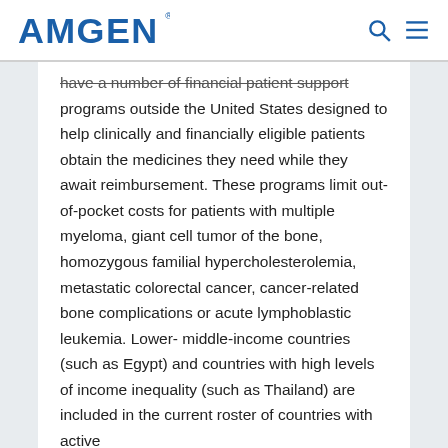AMGEN
have a number of financial patient support programs outside the United States designed to help clinically and financially eligible patients obtain the medicines they need while they await reimbursement. These programs limit out-of-pocket costs for patients with multiple myeloma, giant cell tumor of the bone, homozygous familial hypercholesterolemia, metastatic colorectal cancer, cancer-related bone complications or acute lymphoblastic leukemia. Lower-middle-income countries (such as Egypt) and countries with high levels of income inequality (such as Thailand) are included in the current roster of countries with active